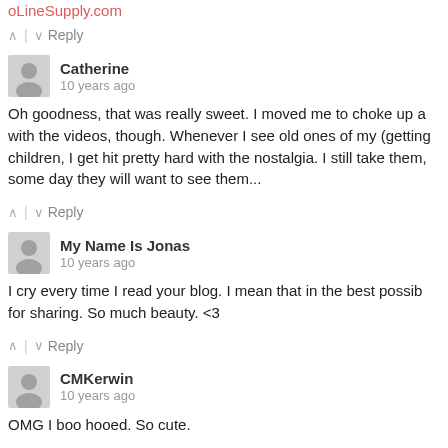oLineSupply.com
^ | v Reply
Catherine
10 years ago
Oh goodness, that was really sweet. I moved me to choke up a with the videos, though. Whenever I see old ones of my (getting children, I get hit pretty hard with the nostalgia. I still take them, some day they will want to see them...
^ | v Reply
My Name Is Jonas
10 years ago
I cry every time I read your blog. I mean that in the best possib for sharing. So much beauty. <3
^ | v Reply
CMKerwin
10 years ago
OMG I boo hooed. So cute.
^ | v Reply
Smead Organomics